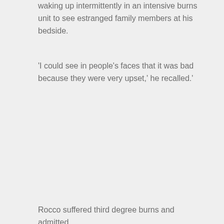waking up intermittently in an intensive burns unit to see estranged family members at his bedside.
'I could see in people's faces that it was bad because they were very upset,' he recalled.'
Rocco suffered third degree burns and admitted